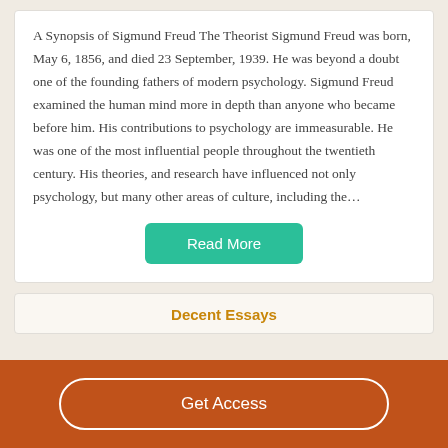A Synopsis of Sigmund Freud The Theorist Sigmund Freud was born, May 6, 1856, and died 23 September, 1939. He was beyond a doubt one of the founding fathers of modern psychology. Sigmund Freud examined the human mind more in depth than anyone who became before him. His contributions to psychology are immeasurable. He was one of the most influential people throughout the twentieth century. His theories, and research have influenced not only psychology, but many other areas of culture, including the…
[Figure (other): Green 'Read More' button]
Decent Essays
[Figure (other): Orange 'Get Access' button on dark orange bar]